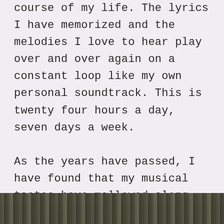course of my life. The lyrics I have memorized and the melodies I love to hear play over and over again on a constant loop like my own personal soundtrack. This is twenty four hours a day, seven days a week.

As the years have passed, I have found that my musical tastes have mellowed along with my demeanor. Gone (hopefully) are the days of constant anger and aggression, replaced in part by a sense of well being brought on by making certain positive life choices and then implementing them to see what direction they take me in.
[Figure (photo): A dark outdoor photograph strip at the bottom of the page, partially visible, showing a landscape or nature scene in muted dark tones.]